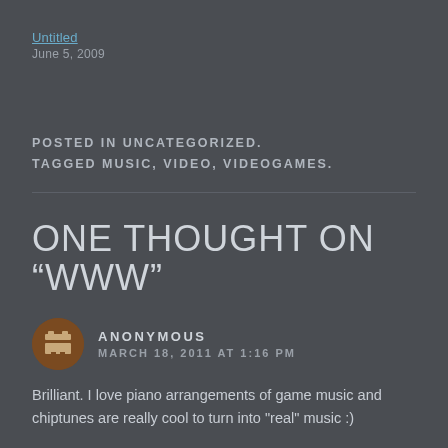Untitled
June 5, 2009
POSTED IN UNCATEGORIZED.
TAGGED MUSIC, VIDEO, VIDEOGAMES.
ONE THOUGHT ON “WWW”
ANONYMOUS
MARCH 18, 2011 AT 1:16 PM
Brilliant. I love piano arrangements of game music and chiptunes are really cool to turn into "real" music :)